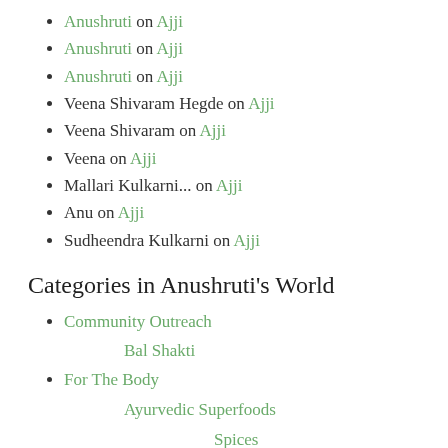Anushruti on Ajji
Anushruti on Ajji
Anushruti on Ajji
Veena Shivaram Hegde on Ajji
Veena Shivaram on Ajji
Veena on Ajji
Mallari Kulkarni... on Ajji
Anu on Ajji
Sudheendra Kulkarni on Ajji
Categories in Anushruti's World
Community Outreach
Bal Shakti
For The Body
Ayurvedic Superfoods
Spices
Saree Stories
Traditional Food and Culture
For the Mind